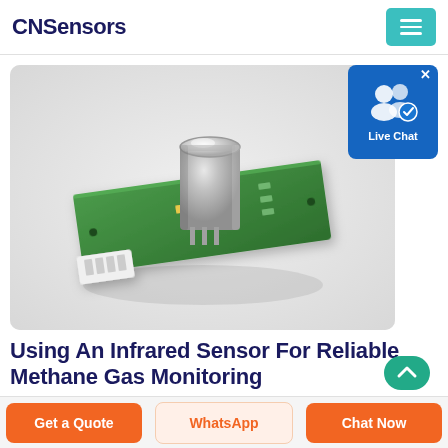CNSensors
[Figure (photo): Photo of an infrared methane gas sensor module: a small green PCB with a cylindrical silver metal sensor element on top and a white connector, photographed on a light gray/white background.]
[Figure (screenshot): Live Chat button widget in the top-right corner: blue rounded rectangle with two user silhouette icons and a blue checkmark badge, labeled 'Live Chat'.]
Using An Infrared Sensor For Reliable Methane Gas Monitoring
Get a Quote
WhatsApp
Chat Now